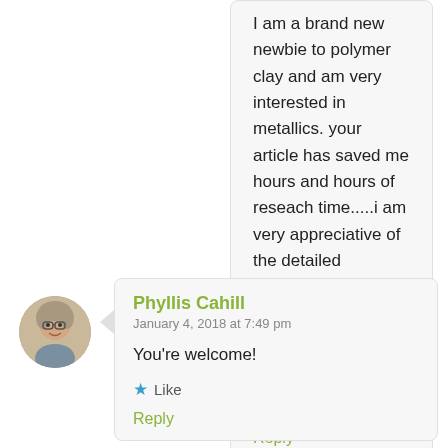I am a brand new newbie to polymer clay and am very interested in metallics. your article has saved me hours and hours of reseach time.....i am very appreciative of the detailed information you have provided. thank you thank you!!
Like
Reply
[Figure (photo): Circular avatar photo of a woman with grey/white hair and glasses]
Phyllis Cahill
January 4, 2018 at 7:49 pm
You're welcome!
Like
Reply